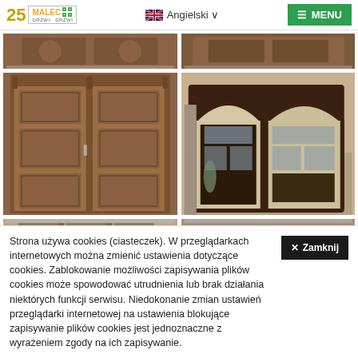Malec DRZWI - Angielski - MENU
[Figure (photo): Top partial cropped image of wooden door (left)]
[Figure (photo): Top partial cropped image of wooden door (right)]
[Figure (photo): Medium shot of classic double wooden door with decorative panels]
[Figure (photo): Dark wooden door with glass panes, open, in workshop setting]
[Figure (photo): Bottom partial cropped door image (left)]
[Figure (photo): Bottom partial cropped door image (right)]
Strona używa cookies (ciasteczek). W przeglądarkach internetowych można zmienić ustawienia dotyczące cookies. Zablokowanie możliwości zapisywania plików cookies może spowodować utrudnienia lub brak działania niektórych funkcji serwisu. Niedokonanie zmian ustawień przeglądarki internetowej na ustawienia blokujące zapisywanie plików cookies jest jednoznaczne z wyrażeniem zgody na ich zapisywanie.